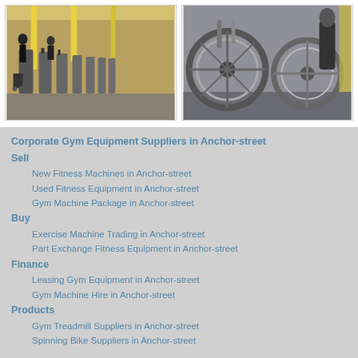[Figure (photo): Interior of a gym showing a row of elliptical/cardio machines with people exercising, yellow ceiling elements visible]
[Figure (photo): Close-up of spinning bikes or exercise bikes with large flywheels in a gym, partial view of a person in background]
Corporate Gym Equipment Suppliers in Anchor-street
Sell
New Fitness Machines in Anchor-street
Used Fitness Equipment in Anchor-street
Gym Machine Package in Anchor-street
Buy
Exercise Machine Trading in Anchor-street
Part Exchange Fitness Equipment in Anchor-street
Finance
Leasing Gym Equipment in Anchor-street
Gym Machine Hire in Anchor-street
Products
Gym Treadmill Suppliers in Anchor-street
Spinning Bike Suppliers in Anchor-street